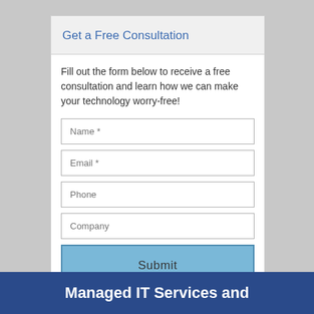Get a Free Consultation
Fill out the form below to receive a free consultation and learn how we can make your technology worry-free!
[Figure (screenshot): Web form with fields: Name *, Email *, Phone, Company, and a Submit button]
Managed IT Services and